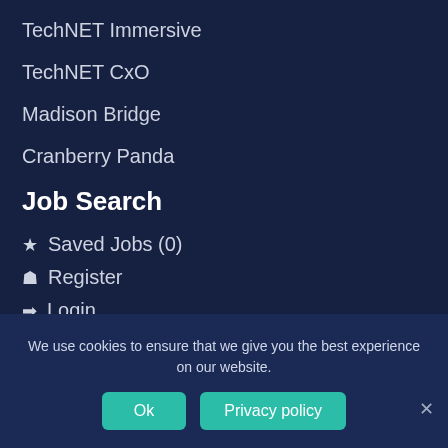TechNET Immersive
TechNET CxO
Madison Bridge
Cranberry Panda
Job Search
★ Saved Jobs (0)
👤 Register
➡ Login
Submit CV
We use cookies to ensure that we give you the best experience on our website.